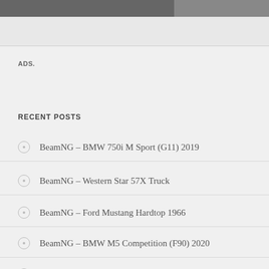ADS.
RECENT POSTS
BeamNG – BMW 750i M Sport (G11) 2019
BeamNG – Western Star 57X Truck
BeamNG – Ford Mustang Hardtop 1966
BeamNG – BMW M5 Competition (F90) 2020
BeamNG – Tesla Roadster Prototype 2017 V1.9.1